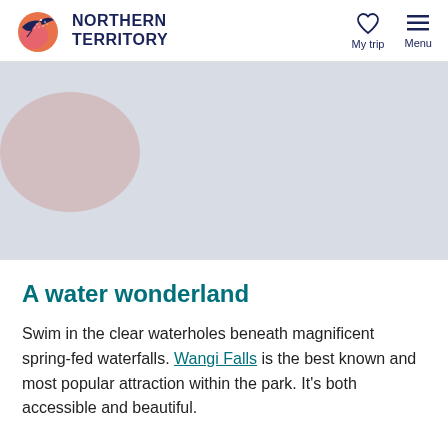[Figure (logo): Northern Territory tourism logo with bird and orange sun motif, dark blue text reading NORTHERN TERRITORY]
My trip  Menu
[Figure (photo): Placeholder hero image (light grey) with overlay text: See & do / Bamboo Creek Tin Mine]
See & do
Bamboo Creek Tin Mine
A water wonderland
Swim in the clear waterholes beneath magnificent spring-fed waterfalls. Wangi Falls is the best known and most popular attraction within the park. It’s both accessible and beautiful.